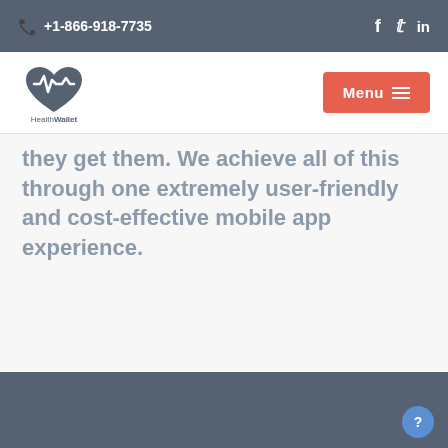+1-866-918-7735
[Figure (logo): HealthWallet logo — heart shape with ECG waveform inside, text 'HealthWallet' below]
they get them. We achieve all of this through one extremely user-friendly and cost-effective mobile app experience.